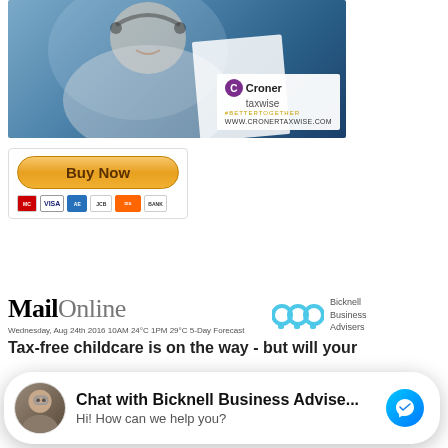[Figure (photo): Croner Taxwise advertisement banner showing a smiling man wearing a headset, with Croner Taxwise logo and website URL www.cronertaxwise.com]
[Figure (screenshot): Buy Now button with payment icons (Mastercard, Visa, American Express, JCB, Discover, Bank) in a white bordered box]
[Figure (logo): MailOnline logo in bold serif font with Bicknell Business Advisers logo to the right]
Wednesday, Aug 24th 2016 10AM 24°C 1PM 29°C 5-Day Forecast
Tax-free childcare is on the way - but will your
Published: 11:32, 23 August 2018 | Updated: 11:32, 23 August 2018
The average cost of full-time childcare across the UK for a child under the age of two is £217.57 a week.
[Figure (screenshot): Chat overlay at bottom of page: Chat with Bicknell Business Advise... Hi! How can we help you? with Messenger icon]